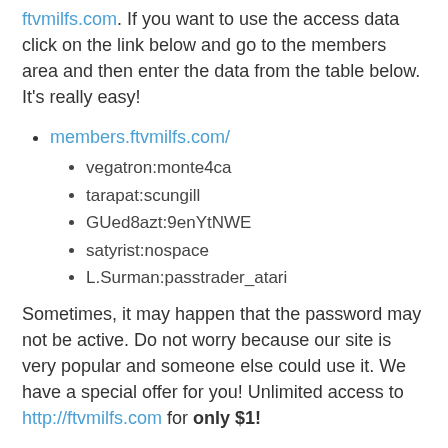ftvmilfs.com. If you want to use the access data click on the link below and go to the members area and then enter the data from the table below. It's really easy!
members.ftvmilfs.com/
vegatron:monte4ca
tarapat:scungill
GUed8azt:9enYtNWE
satyrist:nospace
L.Surman:passtrader_atari
Sometimes, it may happen that the password may not be active. Do not worry because our site is very popular and someone else could use it. We have a special offer for you! Unlimited access to http://ftvmilfs.com for only $1!